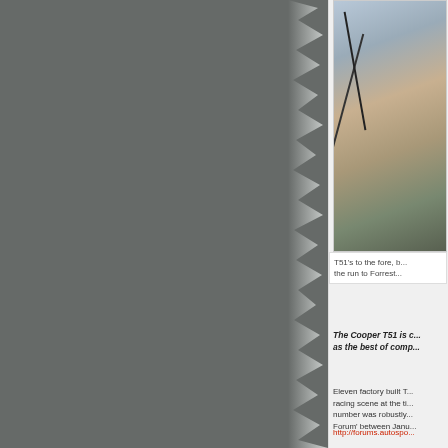[Figure (photo): Partially visible photograph showing trees/branches against a blurred outdoor background, appears to be a vintage motorsport scene]
T51's to the fore, but on the run to Forrest...
The Cooper T51 is c... as the best of comp...
Eleven factory built T... racing scene at the ti... number was robustly... Forum' between Janu...
http://forums.autospo...